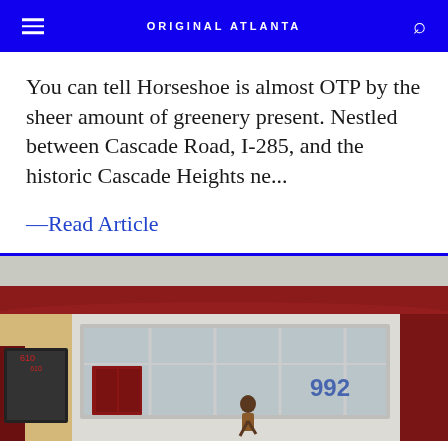ORIGINAL ATLANTA
You can tell Horseshoe is almost OTP by the sheer amount of greenery present. Nestled between Cascade Road, I-285, and the historic Cascade Heights ne...
—Read Article
[Figure (photo): Exterior storefront photo of a white brick building with red awning and red doors, large display windows, number 992 visible on the window, a person walking in front.]